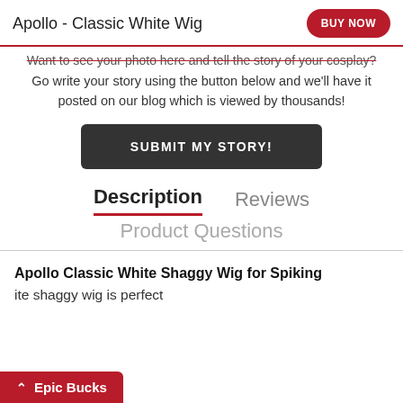Apollo - Classic White Wig
Want to see your photo here and tell the story of your cosplay? Go write your story using the button below and we'll have it posted on our blog which is viewed by thousands!
SUBMIT MY STORY!
Description | Reviews
Product Questions
Apollo Classic White Shaggy Wig for Spiking
ite shaggy wig is perfect
Epic Bucks